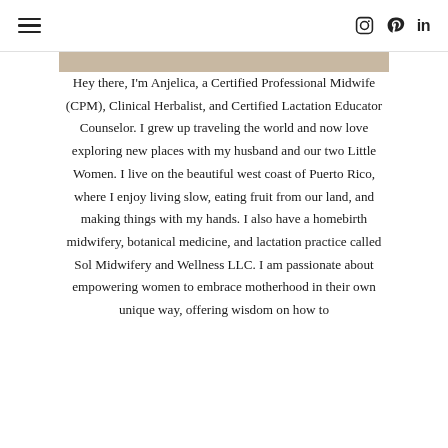☰  [instagram] [pinterest] in
[Figure (photo): Partial top of a profile photo or decorative image, cropped at the top of the content area]
Hey there, I'm Anjelica, a Certified Professional Midwife (CPM), Clinical Herbalist, and Certified Lactation Educator Counselor. I grew up traveling the world and now love exploring new places with my husband and our two Little Women. I live on the beautiful west coast of Puerto Rico, where I enjoy living slow, eating fruit from our land, and making things with my hands. I also have a homebirth midwifery, botanical medicine, and lactation practice called Sol Midwifery and Wellness LLC. I am passionate about empowering women to embrace motherhood in their own unique way, offering wisdom on how to